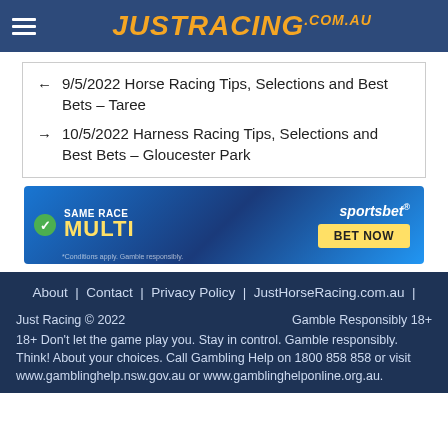JUSTRACING.COM.AU
← 9/5/2022 Horse Racing Tips, Selections and Best Bets – Taree
→ 10/5/2022 Harness Racing Tips, Selections and Best Bets – Gloucester Park
[Figure (other): Sportsbet advertisement banner: SAME RACE MULTI with BET NOW button]
About | Contact | Privacy Policy | JustHorseRacing.com.au |
Just Racing © 2022    Gamble Responsibly 18+
18+ Don't let the game play you. Stay in control. Gamble responsibly. Think! About your choices. Call Gambling Help on 1800 858 858 or visit www.gamblinghelp.nsw.gov.au or www.gamblinghelponline.org.au.